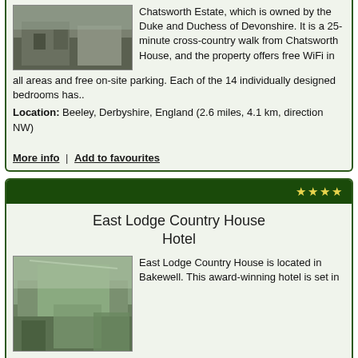Chatsworth Estate, which is owned by the Duke and Duchess of Devonshire. It is a 25-minute cross-country walk from Chatsworth House, and the property offers free WiFi in all areas and free on-site parking. Each of the 14 individually designed bedrooms has..
Location: Beeley, Derbyshire, England (2.6 miles, 4.1 km, direction NW)
More info | Add to favourites
East Lodge Country House Hotel
East Lodge Country House is located in Bakewell. This award-winning hotel is set in over 10 acres of landscaped gardens in the heart of the beautiful Peak District. There is free WiFi throughout the hotel and plenty of free on site parking. The fully rooms with attached bathroom at East Lodge Count..
Location: Bakewell, Derbyshire, England (2.6 miles, 4.1 km, direction W)
More info | Add to favourites